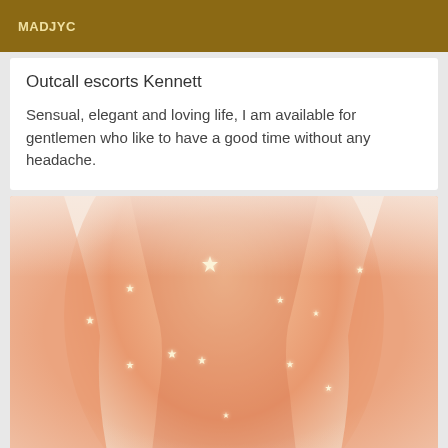MADJYC
Outcall escorts Kennett
Sensual, elegant and loving life, I am available for gentlemen who like to have a good time without any headache.
[Figure (photo): Close-up photo of a woman's torso with warm orange-pink skin tones and sparkling light effects scattered across the body against a soft light background.]